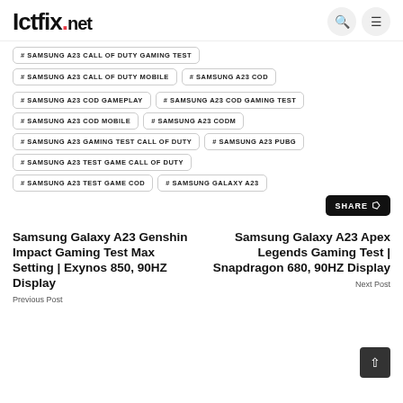Ictfix.net
# SAMSUNG A23 CALL OF DUTY GAMING TEST
# SAMSUNG A23 CALL OF DUTY MOBILE
# SAMSUNG A23 COD
# SAMSUNG A23 COD GAMEPLAY
# SAMSUNG A23 COD GAMING TEST
# SAMSUNG A23 COD MOBILE
# SAMSUNG A23 CODM
# SAMSUNG A23 GAMING TEST CALL OF DUTY
# SAMSUNG A23 PUBG
# SAMSUNG A23 TEST GAME CALL OF DUTY
# SAMSUNG A23 TEST GAME COD
# SAMSUNG GALAXY A23
SHARE
Samsung Galaxy A23 Genshin Impact Gaming Test Max Setting | Exynos 850, 90HZ Display
Previous Post
Samsung Galaxy A23 Apex Legends Gaming Test | Snapdragon 680, 90HZ Display
Next Post